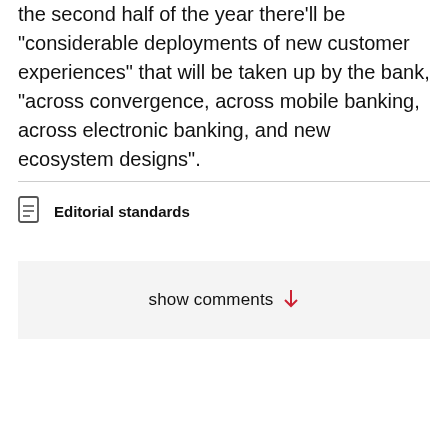the second half of the year there'll be "considerable deployments of new customer experiences" that will be taken up by the bank, "across convergence, across mobile banking, across electronic banking, and new ecosystem designs".
Editorial standards
show comments